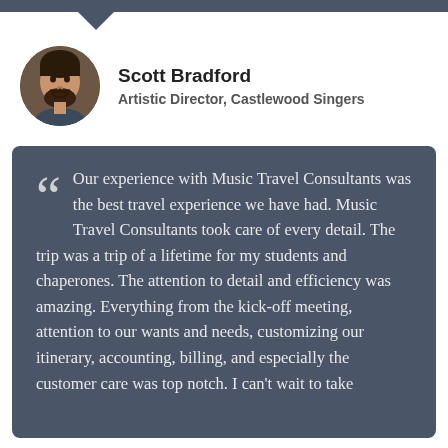Scott Bradford
Artistic Director, Castlewood Singers
[Figure (photo): Circular profile photo of Scott Bradford, a man with dark hair and beard, smiling]
Our experience with Music Travel Consultants was the best travel experience we have had. Music Travel Consultants took care of every detail. The trip was a trip of a lifetime for my students and chaperones. The attention to detail and efficiency was amazing. Everything from the kick-off meeting, attention to our wants and needs, customizing our itinerary, accounting, billing, and especially the customer care was top notch. I can't wait to take